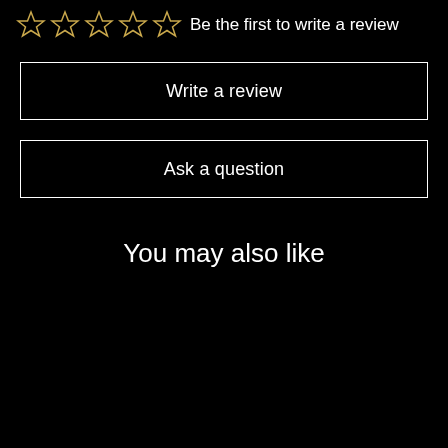[Figure (other): Five empty star rating icons in a row, followed by text 'Be the first to write a review']
Write a review
Ask a question
You may also like